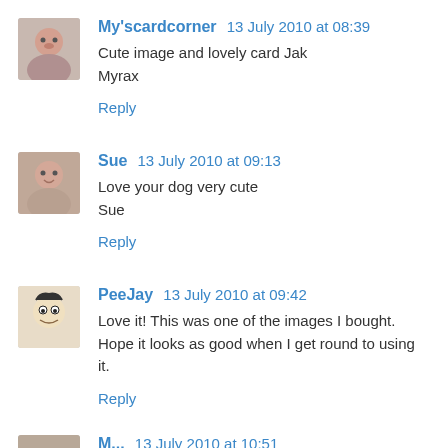My'scardcorner 13 July 2010 at 08:39
Cute image and lovely card Jak
Myrax
Reply
Sue 13 July 2010 at 09:13
Love your dog very cute
Sue
Reply
PeeJay 13 July 2010 at 09:42
Love it! This was one of the images I bought. Hope it looks as good when I get round to using it.
Reply
M... 13 July 2010 at 10:51